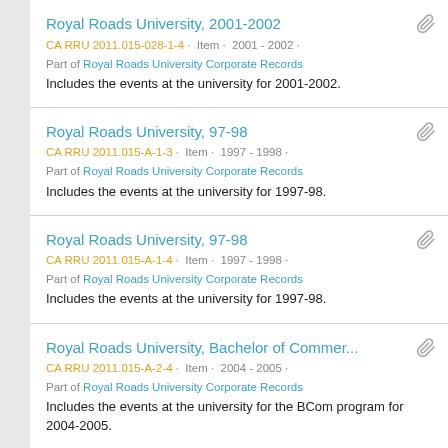Royal Roads University, 2001-2002
CA RRU 2011.015-028-1-4 · Item · 2001 - 2002 ·
Part of Royal Roads University Corporate Records
Includes the events at the university for 2001-2002.
Royal Roads University, 97-98
CA RRU 2011.015-A-1-3 · Item · 1997 - 1998 ·
Part of Royal Roads University Corporate Records
Includes the events at the university for 1997-98.
Royal Roads University, 97-98
CA RRU 2011.015-A-1-4 · Item · 1997 - 1998 ·
Part of Royal Roads University Corporate Records
Includes the events at the university for 1997-98.
Royal Roads University, Bachelor of Commer...
CA RRU 2011.015-A-2-4 · Item · 2004 - 2005 ·
Part of Royal Roads University Corporate Records
Includes the events at the university for the BCom program for 2004-2005.